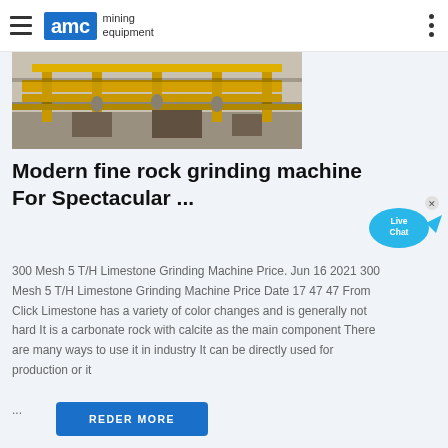AMC mining equipment
[Figure (photo): Mining equipment — yellow structural conveyor or sluice frame components in an industrial/mining environment]
Modern fine rock grinding machine For Spectacular ...
300 Mesh 5 T/H Limestone Grinding Machine Price. Jun 16 2021 300 Mesh 5 T/H Limestone Grinding Machine Price Date 17 47 47 From Click Limestone has a variety of color changes and is generally not hard It is a carbonate rock with calcite as the main component There are many ways to use it in industry It can be directly used for production or it ...
REDER MORE